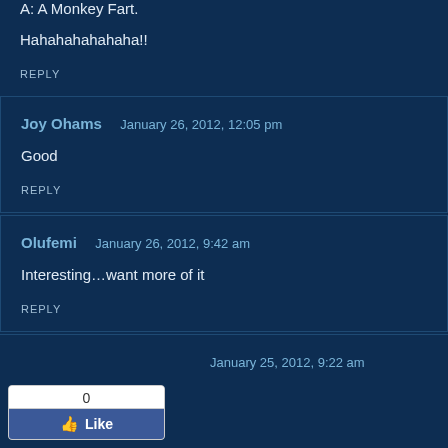A: A Monkey Fart.

Hahahahahahaha!!
REPLY
Joy Ohams  January 26, 2012, 12:05 pm

Good

REPLY
Olufemi  January 26, 2012, 9:42 am

Interesting...want more of it

REPLY
January 25, 2012, 9:22 am